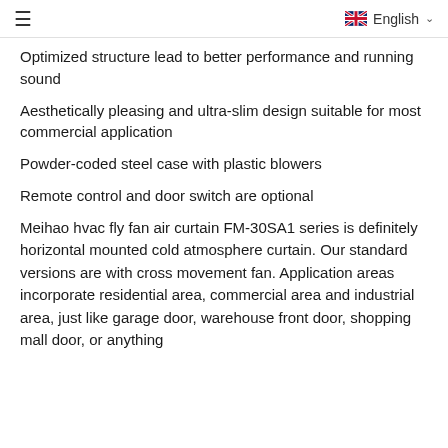≡  English
Optimized structure lead to better performance and running sound
Aesthetically pleasing and ultra-slim design suitable for most commercial application
Powder-coded steel case with plastic blowers
Remote control and door switch are optional
Meihao hvac fly fan air curtain FM-30SA1 series is definitely horizontal mounted cold atmosphere curtain. Our standard versions are with cross movement fan. Application areas incorporate residential area, commercial area and industrial area, just like garage door, warehouse front door, shopping mall door, or anything